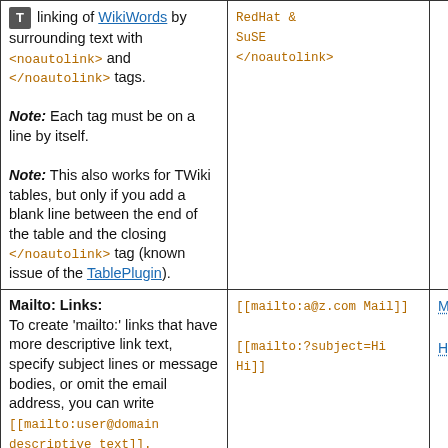| Description | You type | You get |
| --- | --- | --- |
| [T icon] linking of WikiWords by surrounding text with <noautolink> and </noautolink> tags.
Note: Each tag must be on a line by itself.
Note: This also works for TWiki tables, but only if you add a blank line between the end of the table and the closing </noautolink> tag (known issue of the TablePlugin). | RedHat &
SuSE
</noautolink> |  |
| Mailto: Links:
To create 'mailto:' links that have more descriptive link text, specify subject lines or message bodies, or omit the email address, you can write [[mailto:user@domain descriptive text]]. | [[mailto:a@z.com Mail]]

[[mailto:?subject=Hi Hi]] | Mail

Hi |